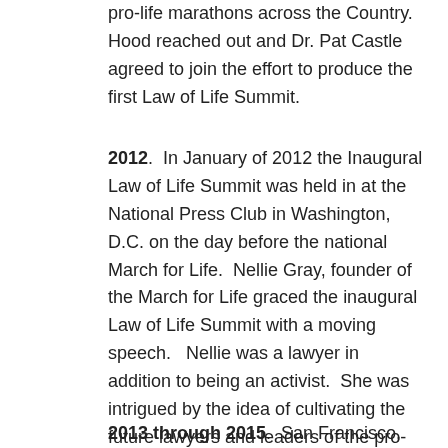pro-life marathons across the Country. Hood reached out and Dr. Pat Castle agreed to join the effort to produce the first Law of Life Summit.
2012. In January of 2012 the Inaugural Law of Life Summit was held in at the National Press Club in Washington, D.C. on the day before the national March for Life. Nellie Gray, founder of the March for Life graced the inaugural Law of Life Summit with a moving speech. Nellie was a lawyer in addition to being an activist. She was intrigued by the idea of cultivating the future lawyers and leaders of the pro-life movement through conference like the Law of Life Summit. Additional speakers included attorney Stuart Nolan from the Legal Works Apostolate, John-Henry Westen from Life Site News, Fr. Frank Pavone from Priests for Life and numerous other leaders and lawyers.
2013 through 2015. San Francisco, Naples and